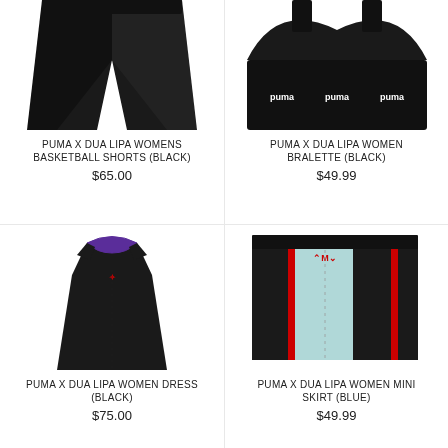[Figure (photo): PUMA X Dua Lipa womens basketball shorts in black, shown from above on white background]
PUMA X DUA LIPA WOMENS BASKETBALL SHORTS (BLACK)
$65.00
[Figure (photo): PUMA X Dua Lipa women bralette in black with PUMA logo band, shown from above on white background]
PUMA X DUA LIPA WOMEN BRALETTE (BLACK)
$49.99
[Figure (photo): PUMA X Dua Lipa women black maxi dress with purple neckline and red logo on chest]
PUMA X DUA LIPA WOMEN DRESS (BLACK)
$75.00
[Figure (photo): PUMA X Dua Lipa women mini skirt in blue and black vertical stripes with red side panels and logo]
PUMA X DUA LIPA WOMEN MINI SKIRT (BLUE)
$49.99